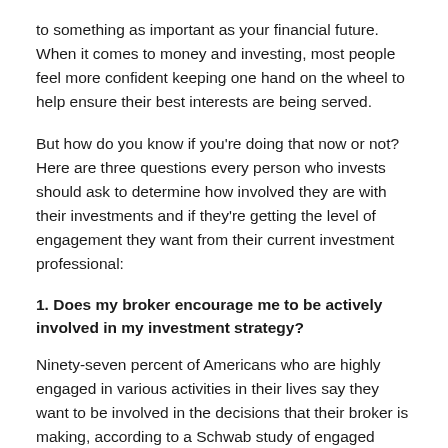to something as important as your financial future. When it comes to money and investing, most people feel more confident keeping one hand on the wheel to help ensure their best interests are being served.
But how do you know if you're doing that now or not? Here are three questions every person who invests should ask to determine how involved they are with their investments and if they're getting the level of engagement they want from their current investment professional:
1. Does my broker encourage me to be actively involved in my investment strategy?
Ninety-seven percent of Americans who are highly engaged in various activities in their lives say they want to be involved in the decisions that their broker is making, according to a Schwab study of engaged Americans conducted in May 2013. Does your broker make this easy for you to do? Sitting down and having a conversation with your broker to discuss the level of involvement